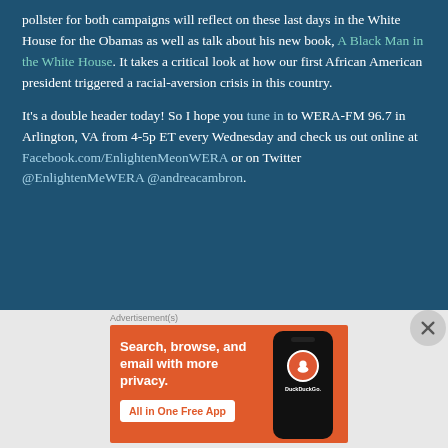pollster for both campaigns will reflect on these last days in the White House for the Obamas as well as talk about his new book, A Black Man in the White House. It takes a critical look at how our first African American president triggered a racial-aversion crisis in this country.
It's a double header today!  So I hope you tune in to WERA-FM 96.7 in Arlington, VA from 4-5p ET every Wednesday and check us out online at Facebook.com/EnlightenMeonWERA or on Twitter @EnlightenMeWERA @andreacambron.
[Figure (screenshot): DuckDuckGo advertisement banner on orange background with text 'Search, browse, and email with more privacy. All in One Free App' and a phone showing the DuckDuckGo logo]